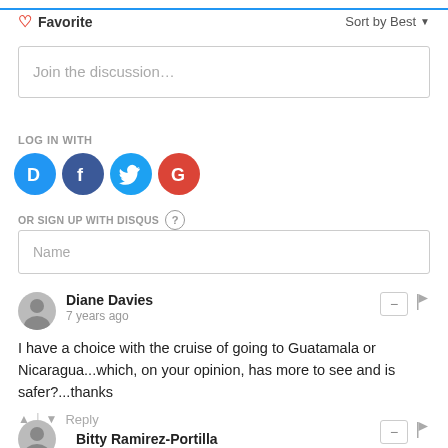Favorite | Sort by Best
Join the discussion…
LOG IN WITH
[Figure (other): Social login icons: Disqus (D), Facebook (f), Twitter bird, Google (G)]
OR SIGN UP WITH DISQUS ?
Name
Diane Davies
7 years ago
I have a choice with the cruise of going to Guatamala or Nicaragua...which, on your opinion, has more to see and is safer?...thanks
↑ | ↓  Reply
Bitty Ramirez-Portilla